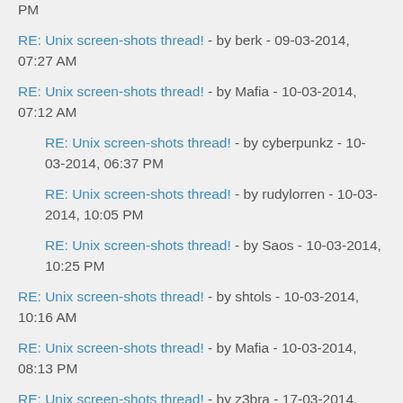PM
RE: Unix screen-shots thread! - by berk - 09-03-2014, 07:27 AM
RE: Unix screen-shots thread! - by Mafia - 10-03-2014, 07:12 AM
RE: Unix screen-shots thread! - by cyberpunkz - 10-03-2014, 06:37 PM
RE: Unix screen-shots thread! - by rudylorren - 10-03-2014, 10:05 PM
RE: Unix screen-shots thread! - by Saos - 10-03-2014, 10:25 PM
RE: Unix screen-shots thread! - by shtols - 10-03-2014, 10:16 AM
RE: Unix screen-shots thread! - by Mafia - 10-03-2014, 08:13 PM
RE: Unix screen-shots thread! - by z3bra - 17-03-2014, 04:53 AM
RE: Unix screen-shots thread! - by nrmc.dubz - 19-03-2014, 08:14 PM
RE: Unix screen-shots thread! - by DotDev - 20-03-2014, 11:31 PM